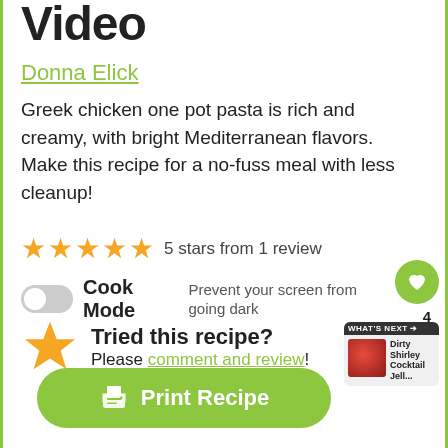Video
Donna Elick
Greek chicken one pot pasta is rich and creamy, with bright Mediterranean flavors. Make this recipe for a no-fuss meal with less cleanup!
5 stars from 1 review
Cook Mode  Prevent your screen from going dark
Tried this recipe? Please comment and review!
Print Recipe